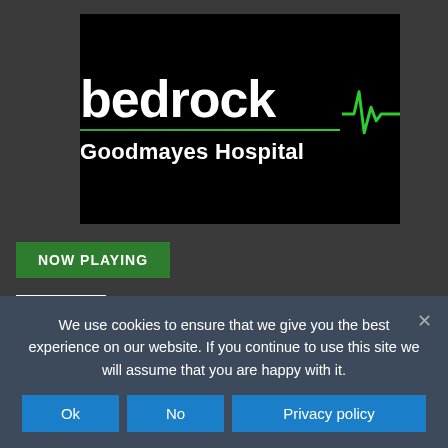[Figure (logo): Bedrock Goodmayes Hospital logo on black background with green heartbeat/ECG line graphic. White bold text reads 'bedrock' and below it 'Goodmayes Hospital', with a green horizontal line and heartbeat waveform to the right.]
NOW PLAYING
[Figure (illustration): Small radio icon with white background showing a semicircular antenna arc in dark color]
We use cookies to ensure that we give you the best experience on our website. If you continue to use this site we will assume that you are happy with it.
Ok
No
Privacy policy